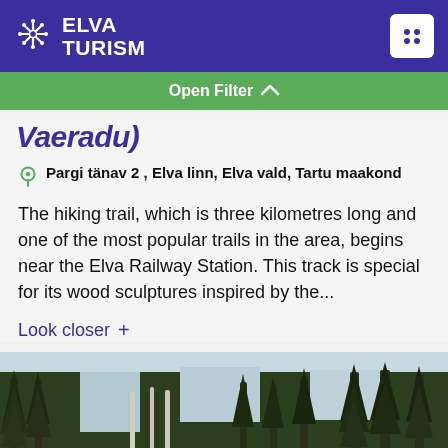ELVA TURISM
Open Filter
Vaeradu)
Pargi tänav 2 , Elva linn, Elva vald, Tartu maakond
The hiking trail, which is three kilometres long and one of the most popular trails in the area, begins near the Elva Railway Station. This track is special for its wood sculptures inspired by the...
Look closer +
[Figure (photo): Forest path with tall pine and birch trees, and a wooden railing/boardwalk structure on the right side]